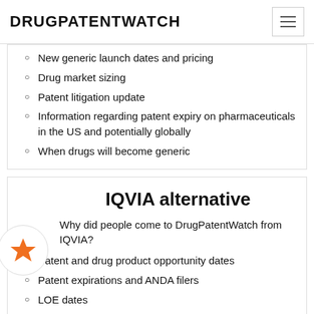DRUGPATENTWATCH
New generic launch dates and pricing
Drug market sizing
Patent litigation update
Information regarding patent expiry on pharmaceuticals in the US and potentially globally
When drugs will become generic
IQVIA alternative
Why did people come to DrugPatentWatch from IQVIA?
Patent and drug product opportunity dates
Patent expirations and ANDA filers
LOE dates